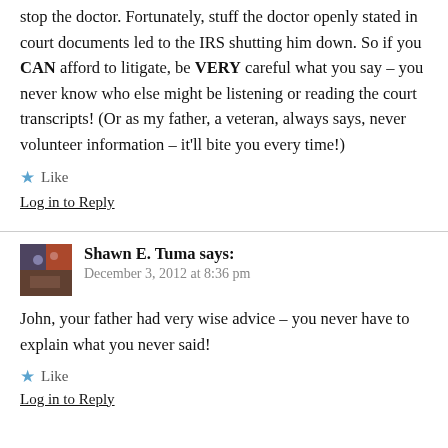stop the doctor. Fortunately, stuff the doctor openly stated in court documents led to the IRS shutting him down. So if you CAN afford to litigate, be VERY careful what you say – you never know who else might be listening or reading the court transcripts! (Or as my father, a veteran, always says, never volunteer information – it'll bite you every time!)
Like
Log in to Reply
Shawn E. Tuma says:
December 3, 2012 at 8:36 pm
John, your father had very wise advice – you never have to explain what you never said!
Like
Log in to Reply